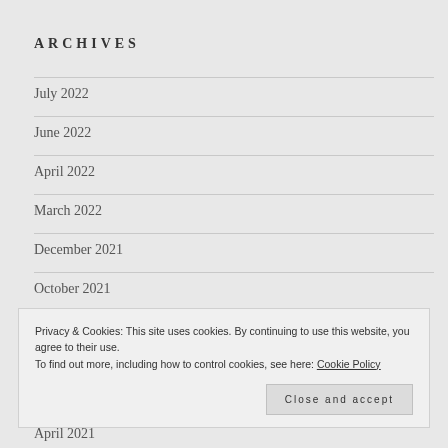ARCHIVES
July 2022
June 2022
April 2022
March 2022
December 2021
October 2021
Privacy & Cookies: This site uses cookies. By continuing to use this website, you agree to their use.
To find out more, including how to control cookies, see here: Cookie Policy
April 2021